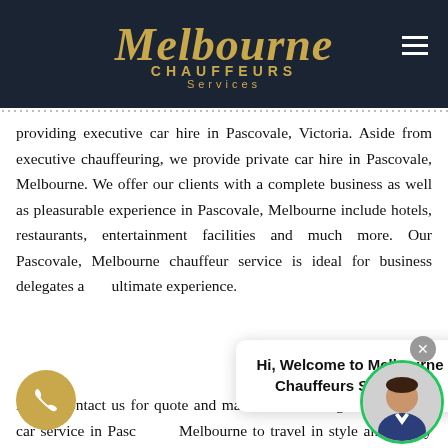[Figure (logo): Melbourne Chauffeurs Services logo in gold script on dark navy header background with hamburger menu icon]
providing executive car hire in Pascovale, Victoria. Aside from executive chauffeuring, we provide private car hire in Pascovale, Melbourne. We offer our clients with a complete business as well as pleasurable experience in Pascovale, Melbourne include hotels, restaurants, entertainment facilities and much more. Our Pascovale, Melbourne chauffeur service is ideal for business delegates a... ultimate experience.
Hi, Welcome to Melbourne Chauffeurs Services!
Please contact us for quote and make an on... ooking for executive car service in Pasc... Melbourne to travel in style and luxury anywhere you